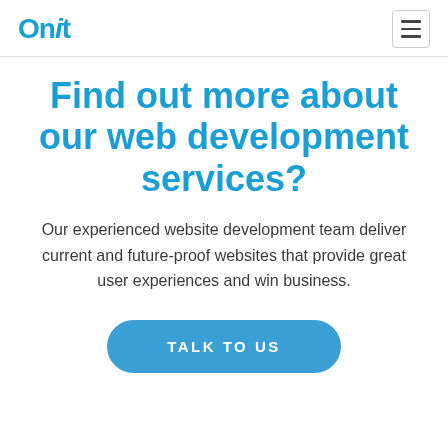Onit
Find out more about our web development services?
Our experienced website development team deliver current and future-proof websites that provide great user experiences and win business.
TALK TO US